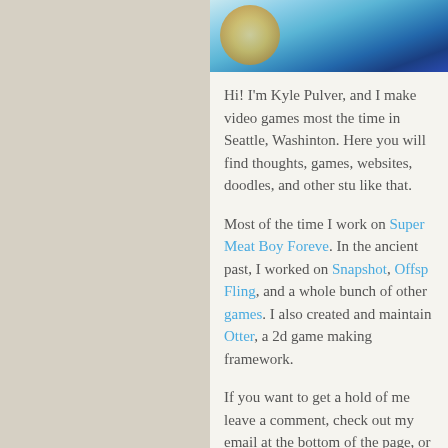[Figure (photo): Partial illustration or photo with blue and teal colors visible at the top of the content area]
Hi! I'm Kyle Pulver, and I make video games most the time in Seattle, Washinton. Here you will find thoughts, games, websites, doodles, and other stu like that.
Most of the time I work on Super Meat Boy Foreve. In the ancient past, I worked on Snapshot, Offsp Fling, and a whole bunch of other games. I also created and maintain Otter, a 2d game making framework.
If you want to get a hold of me leave a comment, check out my email at the bottom of the page, or tweet at me. Thanks for stoppin' by! You're the coolest.